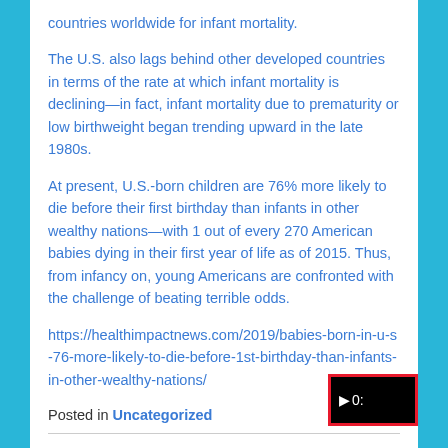countries worldwide for infant mortality.
The U.S. also lags behind other developed countries in terms of the rate at which infant mortality is declining—in fact, infant mortality due to prematurity or low birthweight began trending upward in the late 1980s.
At present, U.S.-born children are 76% more likely to die before their first birthday than infants in other wealthy nations—with 1 out of every 270 American babies dying in their first year of life as of 2015. Thus, from infancy on, young Americans are confronted with the challenge of beating terrible odds.
https://healthimpactnews.com/2019/babies-born-in-u-s-76-more-likely-to-die-before-1st-birthday-than-infants-in-other-wealthy-nations/
Posted in Uncategorized
[Figure (other): Video player widget with play button and timer showing 03: in bottom right corner, with red border]